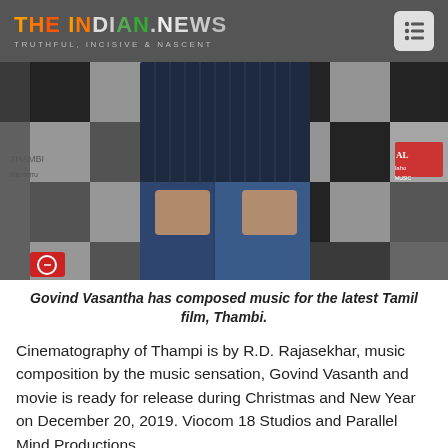THE INDIAN.NEWS
TRUTHFUL, INCISIVE & NASCENT
[Figure (photo): A person wearing a dark navy pinstripe shirt with hands in pockets of blue jeans, standing in front of a checkered backdrop with event banners.]
Govind Vasantha has composed music for the latest Tamil film, Thambi.
Cinematography of Thampi is by R.D. Rajasekhar, music composition by the music sensation, Govind Vasanth and movie is ready for release during Christmas and New Year on December 20, 2019. Viocom 18 Studios and Parallel Mind Productions...